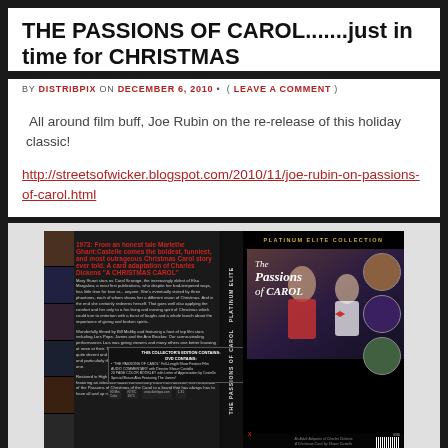THE PASSIONS OF CAROL.......just in time for CHRISTMAS
BY DISTRIBPIX ON DECEMBER 6, 2010 • ( LEAVE A COMMENT )
All around film buff, Joe Rubin on the re-release of this holiday classic!
http://streetsofwicker.blogspot.com/2010/11/joe-rubin-on-passions-of-carol.html
[Figure (photo): DVD cover for 'The Passions of Carol' - Platinum Elite Collection. Shows back cover on left with film stills and descriptive text, spine in center, and front cover on right featuring the title 'The Passions of Carol' with cast images. Subtitle reads 'An Adult Adaption of Charles Dickens A Christmas Carol by Shaun Costello'.]